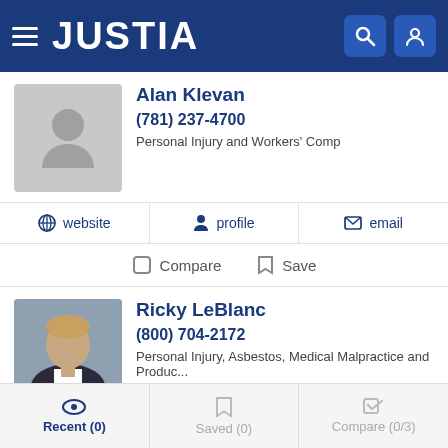JUSTIA
Alan Klevan
(781) 237-4700
Personal Injury and Workers' Comp
website | profile | email
Compare | Save
Ricky LeBlanc
(800) 704-2172
Personal Injury, Asbestos, Medical Malpractice and Produc...
website | profile | email
Compare | Save
Recent (0) | Saved (0) | Compare (0/3)